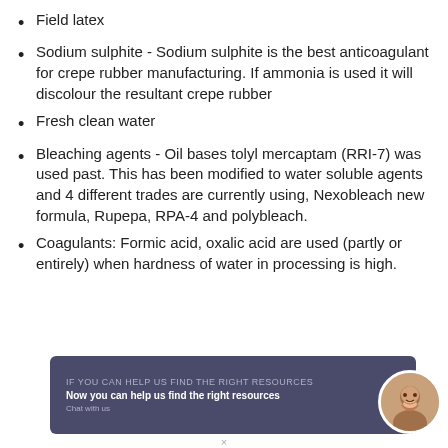Field latex
Sodium sulphite - Sodium sulphite is the best anticoagulant for crepe rubber manufacturing. If ammonia is used it will discolour the resultant crepe rubber
Fresh clean water
Bleaching agents - Oil bases tolyl mercaptam (RRI-7) was used past. This has been modified to water soluble agents and 4 different trades are currently using, Nexobleach new formula, Rupepa, RPA-4 and polybleach.
Coagulants: Formic acid, oxalic acid are used (partly or entirely) when hardness of water in processing is high.
[Figure (screenshot): A dark blue/purple promotional banner with white and grey text, with a circular avatar photo of a smiling woman on the right side.]